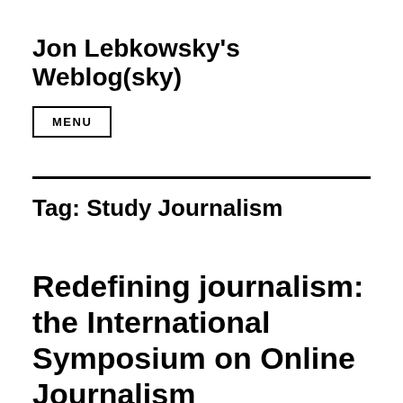Jon Lebkowsky's Weblog(sky)
MENU
Tag: Study Journalism
Redefining journalism: the International Symposium on Online Journalism